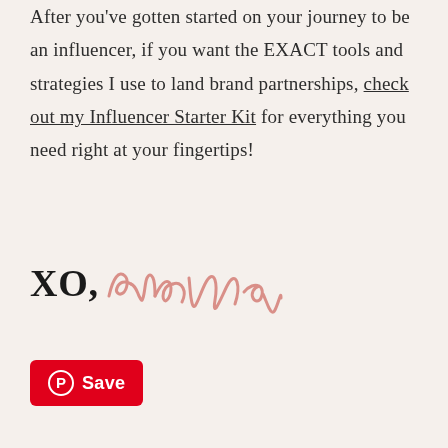After you've gotten started on your journey to be an influencer, if you want the EXACT tools and strategies I use to land brand partnerships, check out my Influencer Starter Kit for everything you need right at your fingertips!
[Figure (illustration): Handwritten signature reading 'XO, naomi' — 'XO,' in bold black serif font, 'naomi' in cursive salmon/pink script]
[Figure (other): Red rounded rectangle Pinterest Save button with Pinterest logo (circled P) and white bold text 'Save']